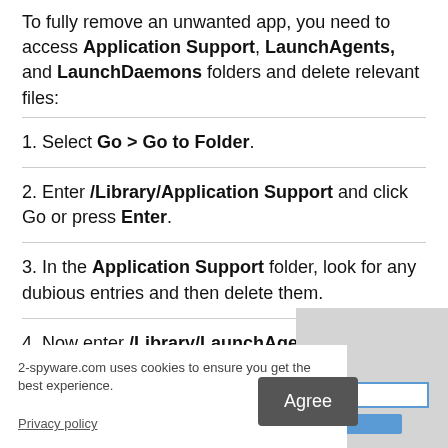To fully remove an unwanted app, you need to access Application Support, LaunchAgents, and LaunchDaemons folders and delete relevant files:
1. Select Go > Go to Folder.
2. Enter /Library/Application Support and click Go or press Enter.
3. In the Application Support folder, look for any dubious entries and then delete them.
4. Now enter /Library/LaunchAgents and /Library/LaunchDaemons folders the same way and
2-spyware.com uses cookies to ensure you get the best experience.
Privacy policy
[Figure (screenshot): Cookie consent banner with Agree button and a partial screenshot of a macOS Go to Folder dialog]